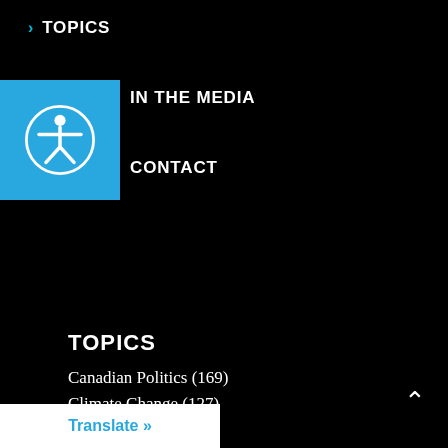> TOPICS
IN THE MEDIA
CONTACT
TOPICS
Canadian Politics (169)
Climate Change (127)
COVID-19 (8)
Economy (22)
Eurozone (21)
Green Party Leadership (23)
Human Rights (176)
Indigenous Rights (6)
Translate »